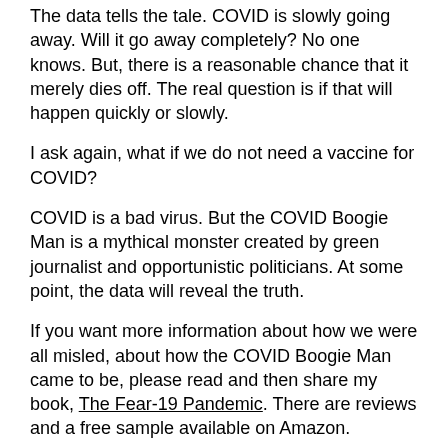The data tells the tale.  COVID is slowly going away.  Will it go away completely?  No one knows.  But, there is a reasonable chance that it merely dies off.  The real question is if that will happen quickly or slowly.
I ask again, what if we do not need a vaccine for COVID?
COVID is a bad virus.  But the COVID Boogie Man is a mythical monster created by green journalist and opportunistic politicians.  At some point, the data will reveal the truth.
If you want more information about how we were all misled, about how the COVID Boogie Man came to be, please read and then share my book, The Fear-19 Pandemic.  There are reviews and a free sample available on Amazon.
Maybe most importantly, share this article.  At some point, people need to understand the difference between COVID and the COVID Boogie Man.
[Figure (photo): Partial view of a colorful illustration or photo, showing red and teal colors, likely related to COVID or a virus image.]